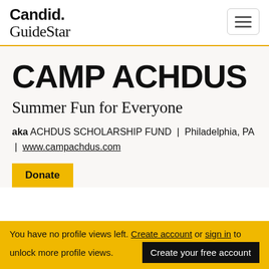Candid. GuideStar
CAMP ACHDUS
Summer Fun for Everyone
aka ACHDUS SCHOLARSHIP FUND | Philadelphia, PA | www.campachdus.com
Donate
You have no profile views left. Create account or sign in to unlock more profile views. Create your free account